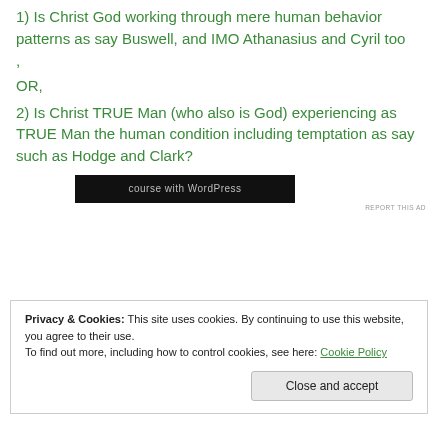1) Is Christ God working through mere human behavior patterns as say Buswell, and IMO Athanasius and Cyril too
,
OR,
2) Is Christ TRUE Man (who also is God) experiencing as TRUE Man the human condition including temptation as say such as Hodge and Clark?
[Figure (screenshot): Dark banner advertisement with text 'course with WordPress']
REPORT THIS AD
Privacy & Cookies: This site uses cookies. By continuing to use this website, you agree to their use.
To find out more, including how to control cookies, see here: Cookie Policy